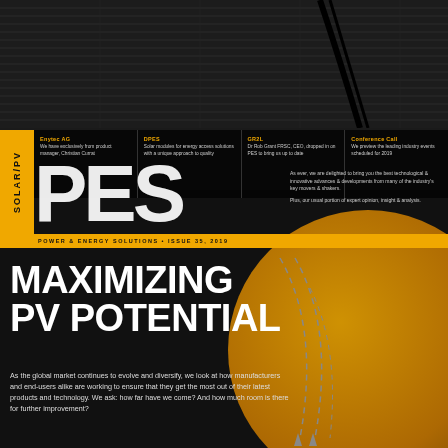[Figure (photo): Solar panel texture background at top of magazine cover, dark with horizontal lines]
SOLAR/PV
Enytec AG
We have exclusively from product manager, Christian Currat
DPES
Solar modules for energy access solutions with a unique approach to quality
GR2L
Dr Rob Grant FRSC, CEO, dropped in on PES to bring us up to date
Conference Call
We preview the leading industry events scheduled for 2019
PES
As ever, we are delighted to bring you the best technological & innovative advances & developments from many of the industry's key movers & shakers.
Plus, our usual portion of expert opinion, insight & analysis.
POWER & ENERGY SOLUTIONS • ISSUE 35, 2019
MAXIMIZING PV POTENTIAL
As the global market continues to evolve and diversify, we look at how manufacturers and end-users alike are working to ensure that they get the most out of their latest products and technology. We ask: how far have we come? And how much room is there for further improvement?